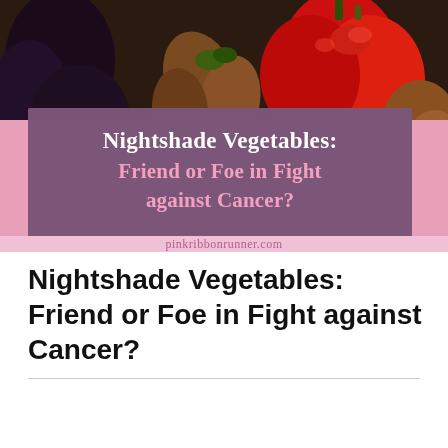[Figure (photo): Hero image showing nightshade vegetables including red peppers, eggplant, and other colorful vegetables against a dark background, with a pink banner overlay containing the article title 'Nightshade Vegetables: Friend or Foe in Fight against Cancer?' and the website pinkribbonrunner.com]
Nightshade Vegetables: Friend or Foe in Fight against Cancer?